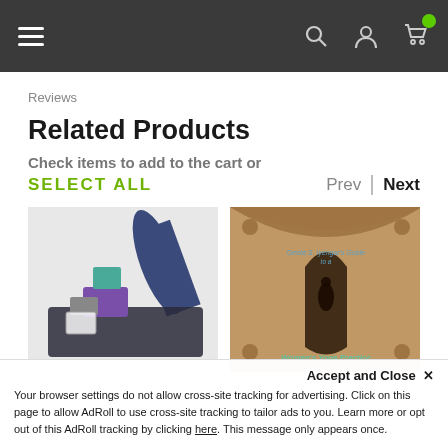[Figure (screenshot): Website navigation bar with hamburger menu, search icon, user icon, and cart icon with green badge]
Reviews
Related Products
Check items to add to the cart or
SELECT ALL
Prev  Next
[Figure (photo): Yoga mat, yoga blocks, and accessories product bundle photo]
[Figure (photo): Book cover: Geeta S. Iyengar's Guide to a Woman's Yoga Practice]
Accept and Close ✕  Your browser settings do not allow cross-site tracking for advertising. Click on this page to allow AdRoll to use cross-site tracking to tailor ads to you. Learn more or opt out of this AdRoll tracking by clicking here. This message only appears once.